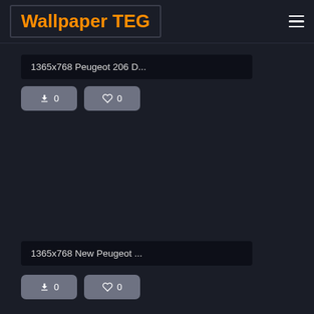Wallpaper TEG
1365x768 Peugeot 206 D...
0 downloads  0 likes
1365x768 New Peugeot ...
0 downloads  0 likes